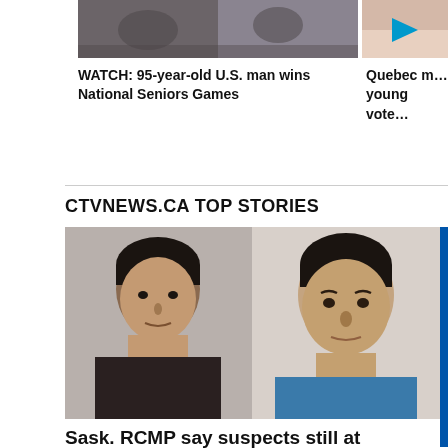[Figure (photo): Top left thumbnail: people in what appears to be a sports or event setting]
[Figure (photo): Top right thumbnail: partial image with play button overlay, pinkish/skin tone background]
WATCH: 95-year-old U.S. man wins National Seniors Games
Quebec m... young vote...
CTVNEWS.CA TOP STORIES
[Figure (photo): Mugshot-style photo of two men side by side: a young man with black hair on the left, and a heavier-set man in a blue shirt on the right]
Sask. RCMP say suspects still at